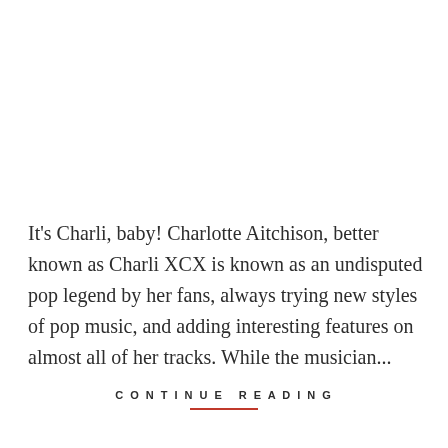It's Charli, baby! Charlotte Aitchison, better known as Charli XCX is known as an undisputed pop legend by her fans, always trying new styles of pop music, and adding interesting features on almost all of her tracks. While the musician...
CONTINUE READING